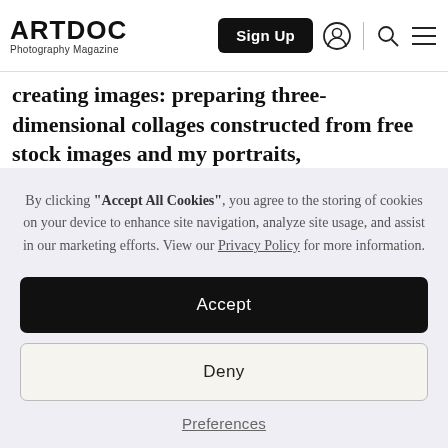ARTDOC Photography Magazine — Sign Up
creating images: preparing three-dimensional collages constructed from free stock images and my portraits, photographing the scenes, printing in large sizes,
By clicking "Accept All Cookies", you agree to the storing of cookies on your device to enhance site navigation, analyze site usage, and assist in our marketing efforts. View our Privacy Policy for more information.
Accept
Deny
Preferences